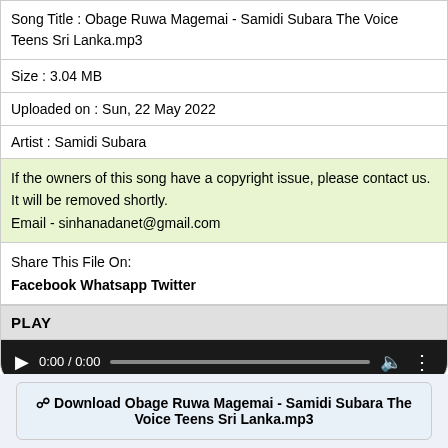| Song Title : Obage Ruwa Magemai - Samidi Subara The Voice Teens Sri Lanka.mp3 |
| Size : 3.04 MB |
| Uploaded on : Sun, 22 May 2022 |
| Artist : Samidi Subara |
| If the owners of this song have a copyright issue, please contact us. It will be removed shortly.
Email - sinhanadanet@gmail.com |
| Share This File On:
Facebook Whatsapp Twitter |
PLAY
[Figure (other): Audio player bar with play button, 0:00 / 0:00 timestamp, seek bar, volume icon, and more options icon on a dark background]
Download Obage Ruwa Magemai - Samidi Subara The Voice Teens Sri Lanka.mp3